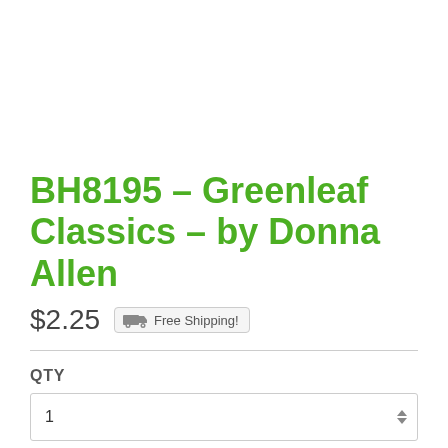BH8195 – Greenleaf Classics – by Donna Allen
$2.25  Free Shipping!
QTY
1
ADD TO CART